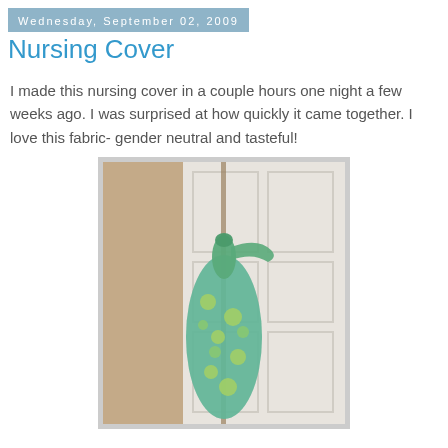Wednesday, September 02, 2009
Nursing Cover
I made this nursing cover in a couple hours one night a few weeks ago. I was surprised at how quickly it came together. I love this fabric- gender neutral and tasteful!
[Figure (photo): A green and yellow floral nursing cover hanging from a door knob on a white paneled door, bunched up and tied at the top with a strap.]